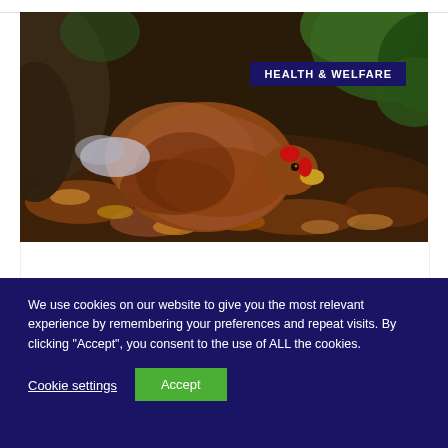[Figure (photo): A brown hen/chicken dust-bathing or resting in autumn leaves and soil against a natural outdoor background with rocks and green foliage. An overlaid label reads 'HEALTH & WELFARE'.]
We use cookies on our website to give you the most relevant experience by remembering your preferences and repeat visits. By clicking “Accept”, you consent to the use of ALL the cookies.
Cookie settings
Accept